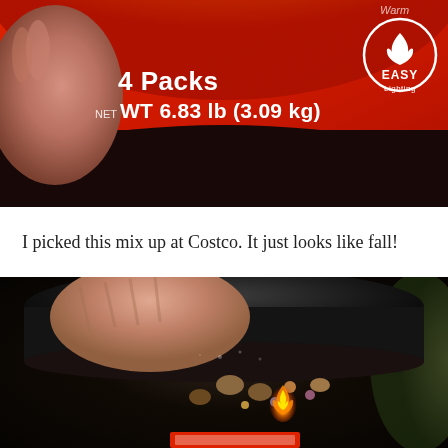[Figure (photo): Close-up photo of a red charcoal/firelog package showing '4 Packs NET WT 6.83 lb (3.09 kg)' text in white, an Easy Lighting badge with flame icon in the upper right, orange and flame gradient at top, dark bottom portion, and a hand holding the package on the left side.]
I picked this mix up at Costco. It just looks like fall!
[Figure (photo): Close-up photo of a dark container/canister being held, showing a black lid and mixed nuts or trail mix inside with small candies visible, a small flame in the center, and a red label partially visible at the bottom.]